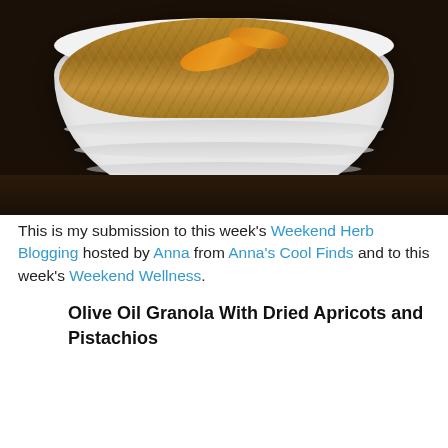[Figure (photo): A white ceramic ramekin bowl filled with granola and dried apricot pieces, photographed from above on a dark wooden surface.]
This is my submission to this week's Weekend Herb Blogging hosted by Anna from Anna's Cool Finds and to this week's Weekend Wellness.
Olive Oil Granola With Dried Apricots and Pistachios